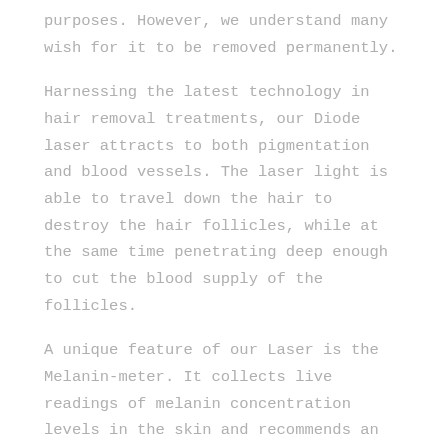purposes. However, we understand many wish for it to be removed permanently.
Harnessing the latest technology in hair removal treatments, our Diode laser attracts to both pigmentation and blood vessels. The laser light is able to travel down the hair to destroy the hair follicles, while at the same time penetrating deep enough to cut the blood supply of the follicles.
A unique feature of our Laser is the Melanin-meter. It collects live readings of melanin concentration levels in the skin and recommends an appropriate and safe treatment program, ensuring you get the best results each time.